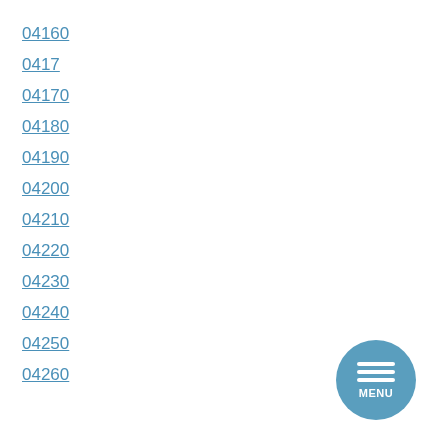04160
0417
04170
04180
04190
04200
04210
04220
04230
04240
04250
04260